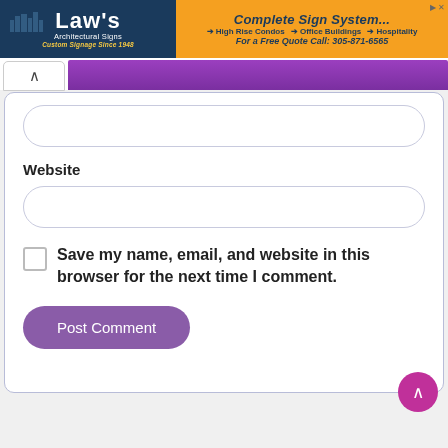[Figure (logo): Law's Architectural Signs banner ad with 'Complete Sign System' on right side showing High Rise Condos, Office Buildings, Hospitality with phone number 305-871-6565]
Website
Save my name, email, and website in this browser for the next time I comment.
Post Comment